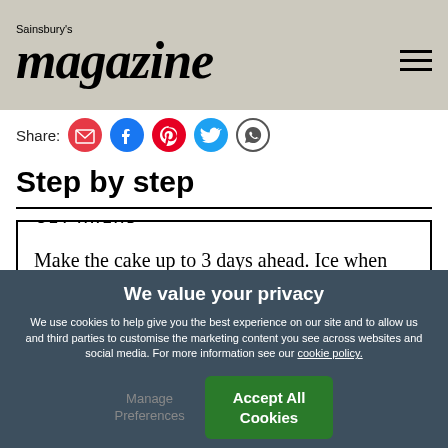Sainsbury's magazine
[Figure (infographic): Social share icons: email (red), Facebook (blue), Pinterest (red), Twitter (blue), WhatsApp (outline)]
Step by step
GET AHEAD

Make the cake up to 3 days ahead. Ice when ready to serve. The uniced cake can also be frozen
We value your privacy
We use cookies to help give you the best experience on our site and to allow us and third parties to customise the marketing content you see across websites and social media. For more information see our cookie policy.
Manage Preferences
Accept All Cookies